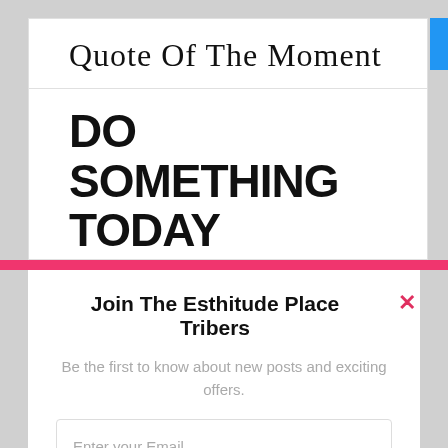Quote Of The Moment
DO SOMETHING TODAY THAT YOUR
Join The Esthitude Place Tribers
Be the first to know about new posts and exciting offers.
Enter your Email
Join Now
Not yet